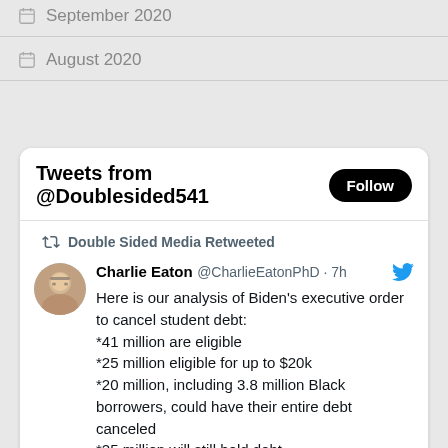September 2020
August 2020
[Figure (screenshot): Embedded Twitter widget showing 'Tweets from @Doublesided541' with a Follow button, a retweet by Double Sided Media, and a tweet by Charlie Eaton @CharlieEatonPhD about Biden's executive order to cancel student debt.]